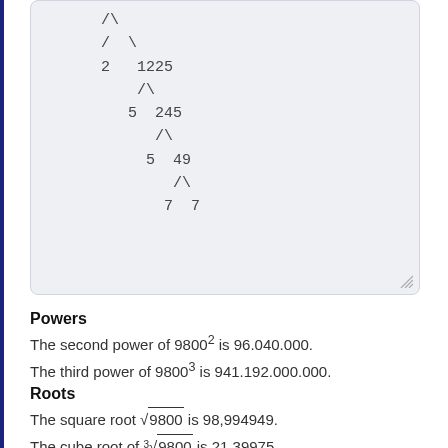[Figure (other): Factor tree diagram for 9800 showing branches: 2 and 1225, then 5 and 245, then 5 and 49, then 7 and 7]
Powers
The second power of 9800² is 96.040.000.
The third power of 9800³ is 941.192.000.000.
Roots
The square root √9800 is 98,994949.
The cube root of ³√9800 is 21,39975.